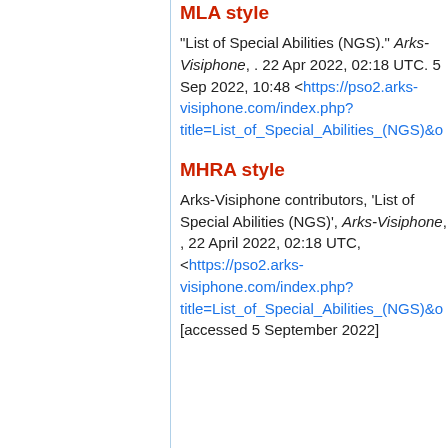MLA style
"List of Special Abilities (NGS)." Arks-Visiphone, . 22 Apr 2022, 02:18 UTC. 5 Sep 2022, 10:48 <https://pso2.arks-visiphone.com/index.php?title=List_of_Special_Abilities_(NGS)&o
MHRA style
Arks-Visiphone contributors, 'List of Special Abilities (NGS)', Arks-Visiphone, , 22 April 2022, 02:18 UTC, <https://pso2.arks-visiphone.com/index.php?title=List_of_Special_Abilities_(NGS)&o [accessed 5 September 2022]